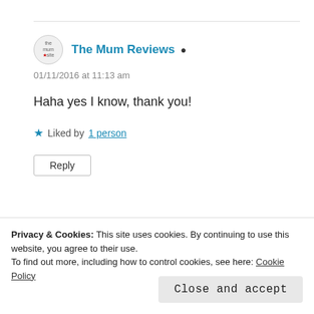The Mum Reviews
01/11/2016 at 11:13 am
Haha yes I know, thank you!
Liked by 1 person
Reply
Privacy & Cookies: This site uses cookies. By continuing to use this website, you agree to their use.
To find out more, including how to control cookies, see here: Cookie Policy
Close and accept